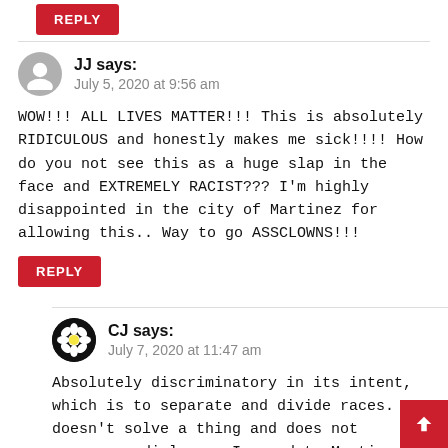REPLY
JJ says:
July 5, 2020 at 9:56 am
WOW!!! ALL LIVES MATTER!!! This is absolutely RIDICULOUS and honestly makes me sick!!!! How do you not see this as a huge slap in the face and EXTREMELY RACIST??? I'm highly disappointed in the city of Martinez for allowing this.. Way to go ASSCLOWNS!!!
REPLY
CJ says:
July 7, 2020 at 11:47 am
Absolutely discriminatory in its intent, which is to separate and divide races. It doesn't solve a thing and does not encourage dialogue. I moved to Martinez 1964. My children were born there went to school there, and I worked there,